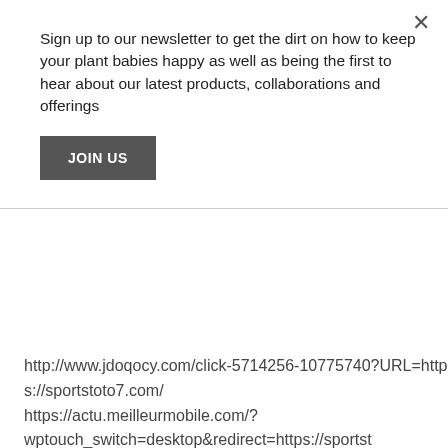Sign up to our newsletter to get the dirt on how to keep your plant babies happy as well as being the first to hear about our latest products, collaborations and offerings
JOIN US
http://www.jdoqocy.com/click-5714256-10775740?URL=https://sportstoto7.com/ https://actu.meilleurmobile.com/?wptouch_switch=desktop&redirect=https://sports... https://affiliates.audiobooks.com/tracking/scripts/c a_aid=5ab270079c8bc&desturl=https://sportstoto7... http://www.kqzyfj.com/click-8091507-13261435?url=https://sportstoto7.com/&cjsku=9781611532746 https://aviation-safety.net/get.php? https://sportstoto7.com/ https://forums.sgcafe.com/redirect-to/?